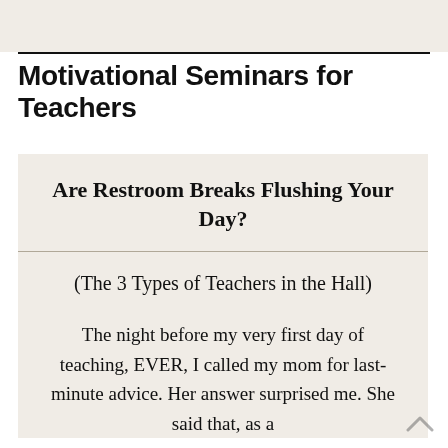Motivational Seminars for Teachers
Are Restroom Breaks Flushing Your Day?
(The 3 Types of Teachers in the Hall)
The night before my very first day of teaching, EVER, I called my mom for last-minute advice. Her answer surprised me. She said that, as a